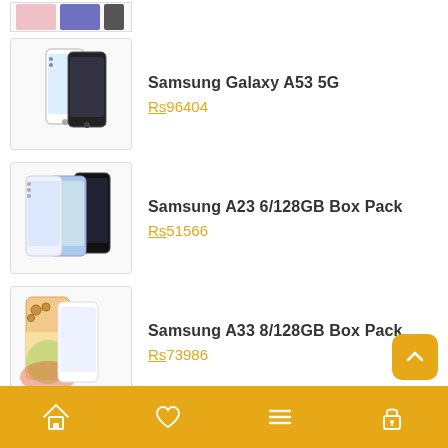[Figure (photo): Partial product image at top - cropped phones visible]
Samsung Galaxy A53 5G
Rs 96404
[Figure (photo): Samsung A23 phones in multiple colors]
Samsung A23 6/128GB Box Pack
Rs 51566
[Figure (photo): Samsung A33 phones in gold/peach colors]
Samsung A33 8/128GB Box Pack
Rs 73986
Contact details
Address: LF-16 Saddar Amma Tower, Karachi Pakistan,
Contact : 0300 8299899
E-mail : contact@rakistan.pk
Home | Wishlist | Menu | Account